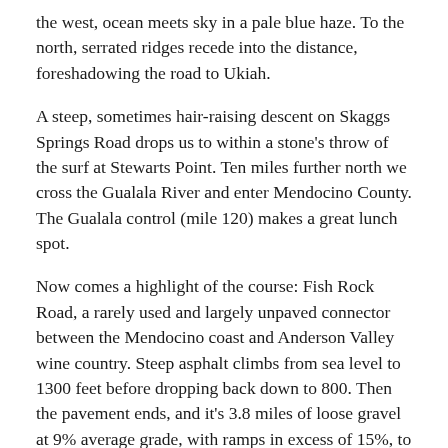the west, ocean meets sky in a pale blue haze. To the north, serrated ridges recede into the distance, foreshadowing the road to Ukiah.
A steep, sometimes hair-raising descent on Skaggs Springs Road drops us to within a stone's throw of the surf at Stewarts Point. Ten miles further north we cross the Gualala River and enter Mendocino County. The Gualala control (mile 120) makes a great lunch spot.
Now comes a highlight of the course: Fish Rock Road, a rarely used and largely unpaved connector between the Mendocino coast and Anderson Valley wine country. Steep asphalt climbs from sea level to 1300 feet before dropping back down to 800. Then the pavement ends, and it’s 3.8 miles of loose gravel at 9% average grade, with ramps in excess of 15%, to the top of the ridge. The dirt continues for five more miles before reverting to rough pavement. Much of the road is wooded, but the occasional lookout reveals how far we’ve climbed. A corkscrew descent with a posted 5mph speed limit makes for a memorable photo. Eventually we emerge onto Highway 128, dazed by the sudden presence of cars and armed with a renewed appreciation for the capabilities of the bicycle.
Eventually (at about 55) it’s after a h…